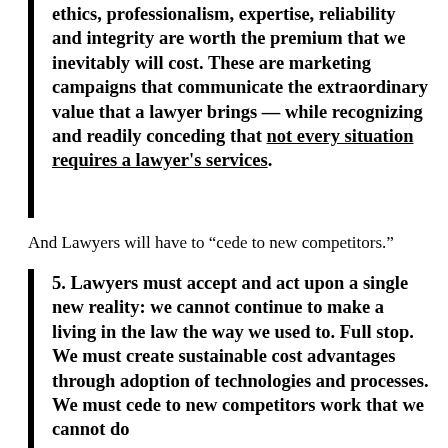ethics, professionalism, expertise, reliability and integrity are worth the premium that we inevitably will cost. These are marketing campaigns that communicate the extraordinary value that a lawyer brings — while recognizing and readily conceding that not every situation requires a lawyer's services.
And Lawyers will have to “cede to new competitors.”
5. Lawyers must accept and act upon a single new reality: we cannot continue to make a living in the law the way we used to. Full stop. We must create sustainable cost advantages through adoption of technologies and processes. We must cede to new competitors work that we cannot do